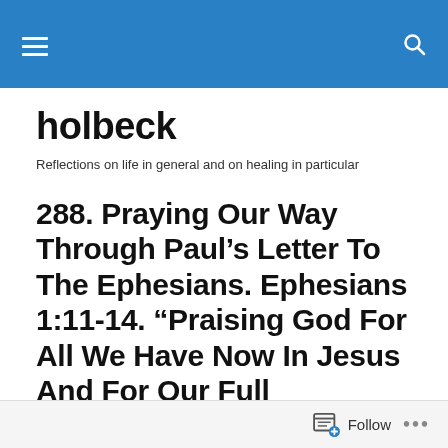holbeck — navigation bar with hamburger menu and search icon
holbeck
Reflections on life in general and on healing in particular
288. Praying Our Way Through Paul's Letter To The Ephesians. Ephesians 1:11-14. “Praising God For All We Have Now In Jesus And For Our Full Inheritance In Him.”
Follow ...